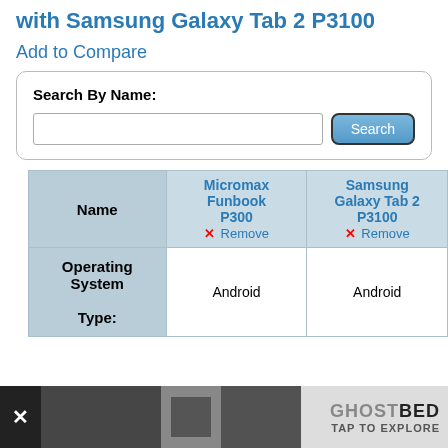with Samsung Galaxy Tab 2 P3100
Add to Compare
Search By Name:
| Name | Micromax Funbook P300 | Samsung Galaxy Tab 2 P3100 |
| --- | --- | --- |
| Operating System Type: | Android | Android |